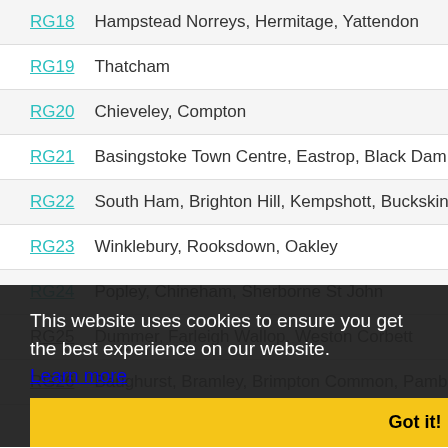| Code | Areas |
| --- | --- |
| RG18 | Hampstead Norreys, Hermitage, Yattendon |
| RG19 | Thatcham |
| RG20 | Chieveley, Compton |
| RG21 | Basingstoke Town Centre, Eastrop, Black Dam |
| RG22 | South Ham, Brighton Hill, Kempshott, Buckskin |
| RG23 | Winklebury, Rooksdown, Oakley |
| RG24 | Popley, Chineham, Sherborne St John |
| RG25 | Dummer, Farleigh Wallop, Weston Corbett |
| RG26 | Baughurst, Bramley, Brimpton Common, Pamber |
| RG27 | Hook, Sherfield on Loddon, Stratfield Turgis, Tu |
| RG28 | Whitchurch |
| RG29 | Hook |
This website uses cookies to ensure you get the best experience on our website. Learn more
Got it!